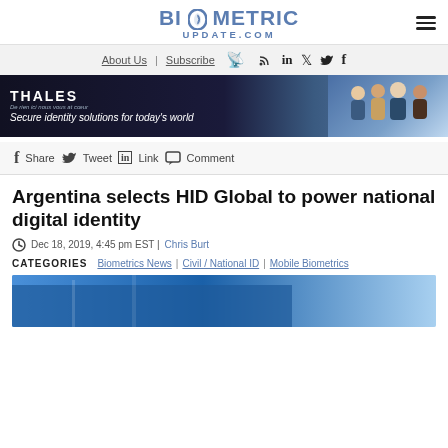BIOMETRIC UPDATE.COM
About Us | Subscribe
[Figure (screenshot): Thales advertisement banner: 'Secure identity solutions for today’s world' with people in the background]
Share  Tweet  Link  Comment
Argentina selects HID Global to power national digital identity
Dec 18, 2019, 4:45 pm EST | Chris Burt
CATEGORIES   Biometrics News | Civil / National ID | Mobile Biometrics
[Figure (photo): Partial photo of a blue sign or building, likely related to the article subject]